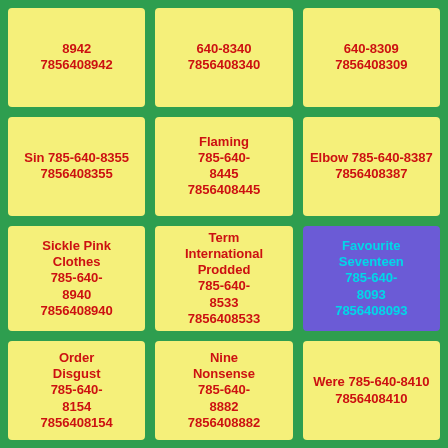8942 7856408942
640-8340 7856408340
640-8309 7856408309
Sin 785-640-8355 7856408355
Flaming 785-640-8445 7856408445
Elbow 785-640-8387 7856408387
Sickle Pink Clothes 785-640-8940 7856408940
Term International Prodded 785-640-8533 7856408533
Favourite Seventeen 785-640-8093 7856408093
Order Disgust 785-640-8154 7856408154
Nine Nonsense 785-640-8882 7856408882
Were 785-640-8410 7856408410